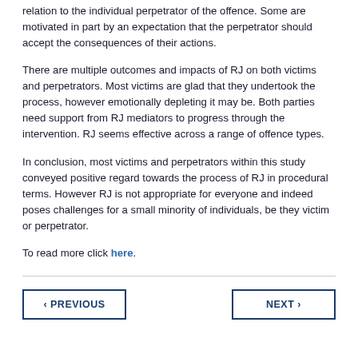relation to the individual perpetrator of the offence. Some are motivated in part by an expectation that the perpetrator should accept the consequences of their actions.
There are multiple outcomes and impacts of RJ on both victims and perpetrators. Most victims are glad that they undertook the process, however emotionally depleting it may be. Both parties need support from RJ mediators to progress through the intervention. RJ seems effective across a range of offence types.
In conclusion, most victims and perpetrators within this study conveyed positive regard towards the process of RJ in procedural terms. However RJ is not appropriate for everyone and indeed poses challenges for a small minority of individuals, be they victim or perpetrator.
To read more click here.
‹ PREVIOUS    NEXT ›